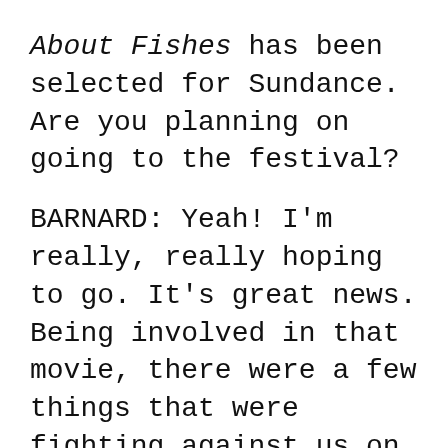About Fishes has been selected for Sundance. Are you planning on going to the festival?
BARNARD: Yeah! I'm really, really hoping to go. It's great news. Being involved in that movie, there were a few things that were fighting against us on that film, and everyone stuck through it, to make sure that it got made, through the thick and thin. Now it's in the main competition at Sundance. It's a fantastic thing to be involved in. I've never been to Sundance before. Also, this was my first American movie as well, so the